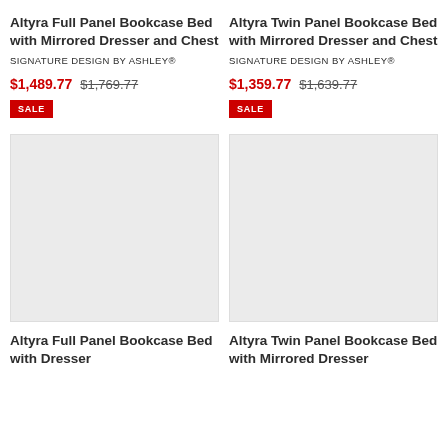Altyra Full Panel Bookcase Bed with Mirrored Dresser and Chest
SIGNATURE DESIGN BY ASHLEY®
$1,489.77  $1,769.77
SALE
Altyra Twin Panel Bookcase Bed with Mirrored Dresser and Chest
SIGNATURE DESIGN BY ASHLEY®
$1,359.77  $1,639.77
SALE
[Figure (photo): Product image placeholder - light gray rectangle]
Altyra Full Panel Bookcase Bed with Dresser
[Figure (photo): Product image placeholder - light gray rectangle]
Altyra Twin Panel Bookcase Bed with Mirrored Dresser